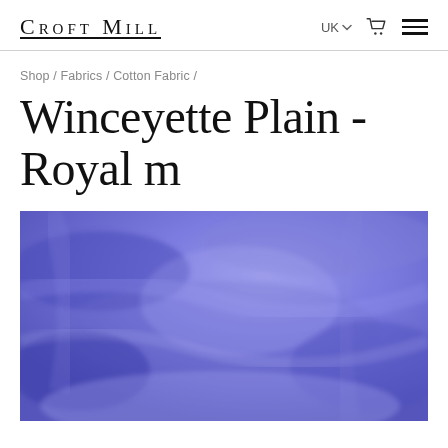Croft Mill
Shop / Fabrics / Cotton Fabric /
Winceyette Plain - Royal m
[Figure (photo): Close-up photograph of royal blue/periwinkle winceyette plain fabric with soft brushed texture and folds]